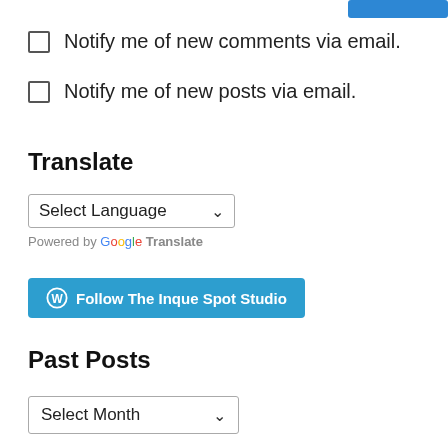Notify me of new comments via email.
Notify me of new posts via email.
Translate
[Figure (screenshot): Select Language dropdown with arrow and 'Powered by Google Translate' text below]
[Figure (screenshot): Blue button: WordPress icon followed by 'Follow The Inque Spot Studio']
Past Posts
[Figure (screenshot): Select Month dropdown with arrow]